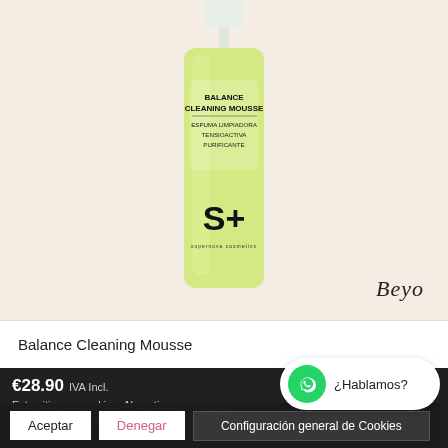[Figure (photo): Product photo of Balance Cleaning Mousse by S+ (Supernova Cosmetics) in a yellow-green pump bottle, on beige background. The Beyo logo appears in the bottom right of the image area.]
Balance Cleaning Mousse
€28.90 IVA Incl.
Este sitio usa cookies. Al continuar navegando nuestro uso de cookies
Aceptar
Denegar
Configuración general de Cookies
¿Hablamos?